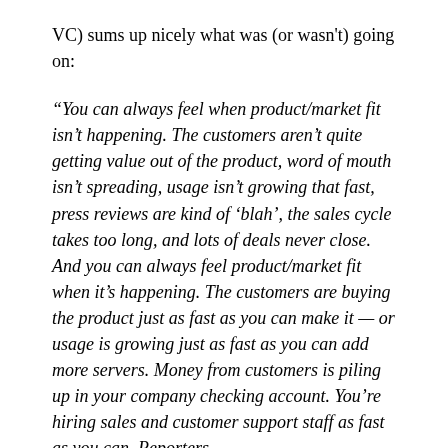VC) sums up nicely what was (or wasn't) going on:
“You can always feel when product/market fit isn’t happening. The customers aren’t quite getting value out of the product, word of mouth isn’t spreading, usage isn’t growing that fast, press reviews are kind of ‘blah’, the sales cycle takes too long, and lots of deals never close. And you can always feel product/market fit when it’s happening. The customers are buying the product just as fast as you can make it — or usage is growing just as fast as you can add more servers. Money from customers is piling up in your company checking account. You’re hiring sales and customer support staff as fast as you can. Reporters